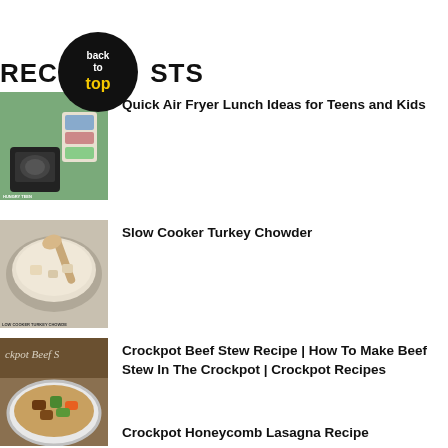RECENT POSTS
[Figure (illustration): Back to top button — black circle with white text 'back to' and yellow text 'top']
[Figure (photo): Thumbnail image for Quick Air Fryer Lunch Ideas for Teens and Kids — shows an air fryer and food packages]
Quick Air Fryer Lunch Ideas for Teens and Kids
[Figure (photo): Thumbnail image for Slow Cooker Turkey Chowder — shows a creamy soup in a slow cooker with a wooden spoon]
Slow Cooker Turkey Chowder
[Figure (photo): Thumbnail image for Crockpot Beef Stew Recipe — shows beef stew on a plate with vegetables]
Crockpot Beef Stew Recipe | How To Make Beef Stew In The Crockpot | Crockpot Recipes
Crockpot Honeycomb Lasagna Recipe